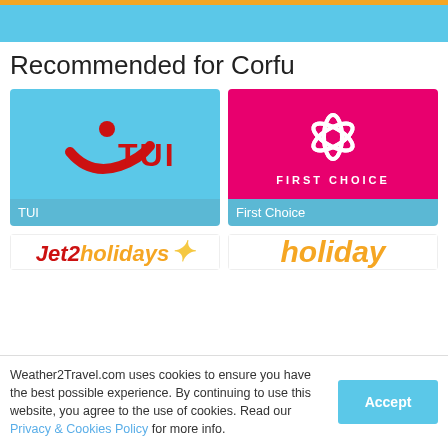[Figure (screenshot): Top banner with light blue background and orange top border]
Recommended for Corfu
[Figure (logo): TUI logo on light blue background with TUI label]
[Figure (logo): First Choice logo on pink/magenta background with First Choice label]
[Figure (logo): Jet2holidays logo on white background (partially visible)]
[Figure (logo): Holiday logo on white background (partially visible)]
Weather2Travel.com uses cookies to ensure you have the best possible experience. By continuing to use this website, you agree to the use of cookies. Read our Privacy & Cookies Policy for more info.